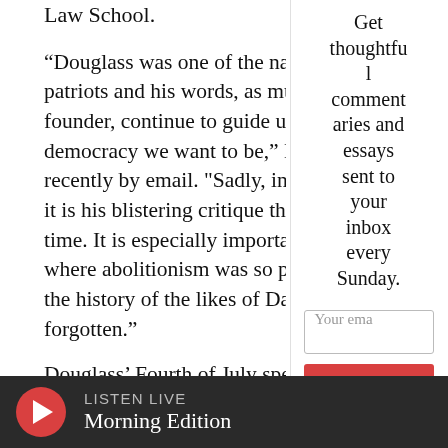Law School.
“Douglass was one of the nation’s greatest patriots and his words, as much as the founder, continue to guide us toward the democracy we want to be,” Harris told recently by email. "Sadly, in the case it is his blistering critique that stands time. It is especially important here where abolitionism was so powerful the history of the likes of David Walker forgotten.”
Douglass’ Fourth of July speech is as
Get thoughtful commentaries and essays sent to your inbox every Sunday.
Your email
SIGN UP
LISTEN LIVE
Morning Edition